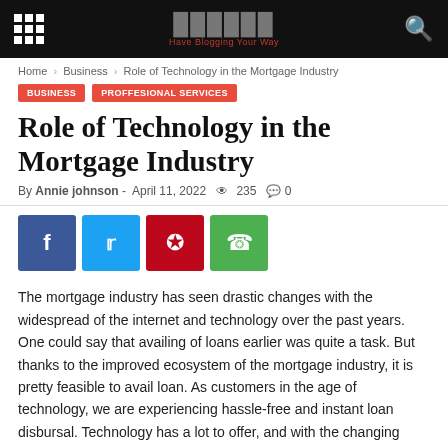Have Blogging Your Way
Home > Business > Role of Technology in the Mortgage Industry
BUSINESS   PROFFESIONAL SERVICES
Role of Technology in the Mortgage Industry
By Annie johnson - April 11, 2022   235   0
The mortgage industry has seen drastic changes with the widespread of the internet and technology over the past years. One could say that availing of loans earlier was quite a task. But thanks to the improved ecosystem of the mortgage industry, it is pretty feasible to avail loan. As customers in the age of technology, we are experiencing hassle-free and instant loan disbursal. Technology has a lot to offer, and with the changing